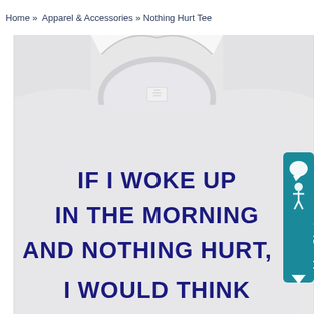Home » Apparel & Accessories » Nothing Hurt Tee
[Figure (photo): Product photo of a light heather gray t-shirt folded to show the neckline and collar area. The shirt displays text in dark blue/navy lettering reading: IF I WOKE UP IN THE MORNING AND NOTHING HURT, I WOULD THINK (text continues below). A teal 'Live Chat' button with accessibility icon is visible on the right edge.]